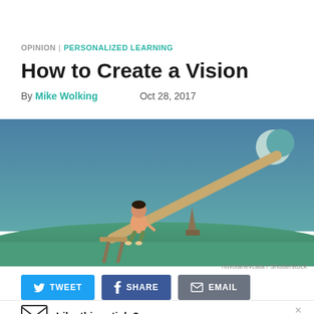OPINION | PERSONALIZED LEARNING
How to Create a Vision
By Mike Wolking   Oct 28, 2017
[Figure (illustration): Illustration of a child sitting on one end of a seesaw at night, with a crescent moon on the other end. The scene is painted in blue and teal tones with a green ground.]
nuvolanevcata / Shutterstock
TWEET   SHARE   EMAIL
Like this article?